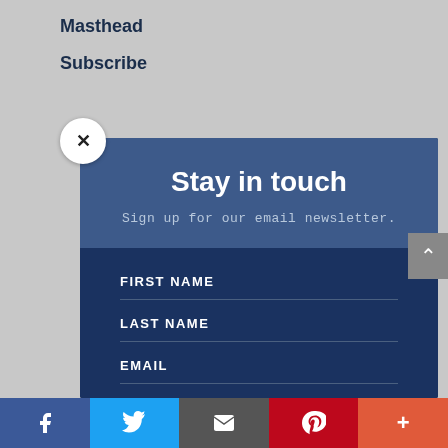Masthead
Subscribe
Stay in touch
Sign up for our email newsletter.
FIRST NAME
LAST NAME
EMAIL
Add me to your mailing list